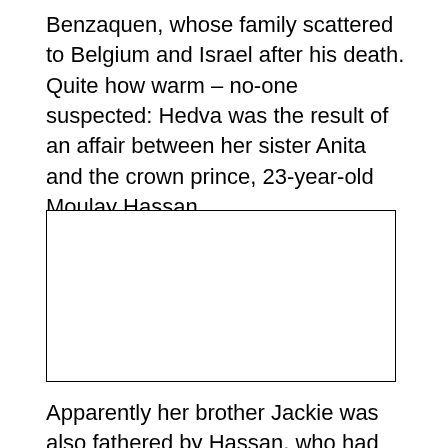Benzaquen, whose family scattered to Belgium and Israel after his death. Quite how warm – no-one suspected: Hedva was the result of an affair between her sister Anita and the crown prince, 23-year-old Moulay Hassan.
[Figure (photo): Empty white rectangle with black border, likely a placeholder for a photograph.]
Apparently her brother Jackie was also fathered by Hassan, who had something of a reputation as a skirt-chaser. On his mother's death, 1967, he inherited a large estate, which